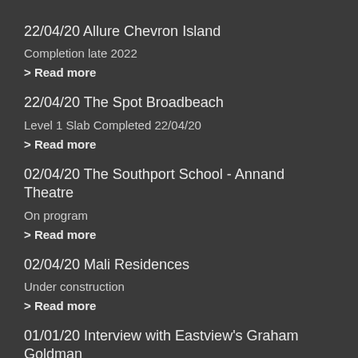22/04/20 Allure Chevron Island
Completion late 2022
> Read more
22/04/20 The Spot Broadbeach
Level 1 Slab Completed 22/04/20
> Read more
02/04/20 The Southport School - Annand Theatre
On program
> Read more
02/04/20 Mali Residences
Under construction
> Read more
01/01/20 Interview with Eastview's Graham Goldman
We caught up to chat with Graham and this is int...